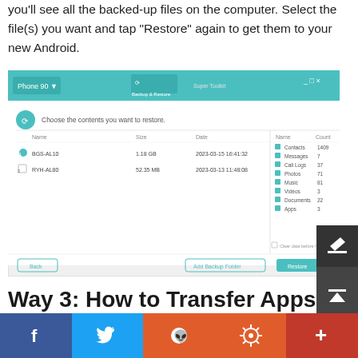you'll see all the backed-up files on the computer. Select the file(s) you want and tap "Restore" again to get them to your new Android.
[Figure (screenshot): MobileTrans Backup & Restore for Android software screenshot showing a restore interface with two backup files listed (BGS-AL10 and RYH-AL80) and a right panel with content types: Contacts (1409), Messages (7), Call Logs (37), Photos (71), Music (81), Videos (3), Documents (22), Apps (3). Buttons at bottom: Back, Add Backup Folder, Restore.]
Way 3: How to Transfer Apps from One Phone to Another with Google Account